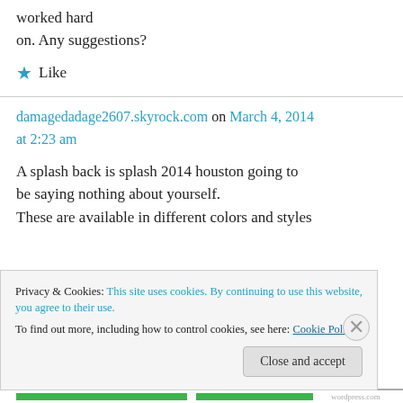worked hard on. Any suggestions?
★ Like
damagedadage2607.skyrock.com on March 4, 2014 at 2:23 am
A splash back is splash 2014 houston going to be saying nothing about yourself.
These are available in different colors and styles
Privacy & Cookies: This site uses cookies. By continuing to use this website, you agree to their use.
To find out more, including how to control cookies, see here: Cookie Policy
Close and accept